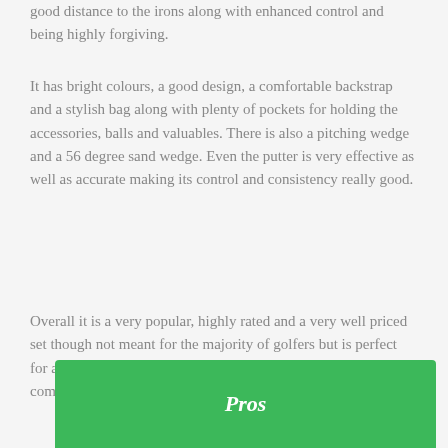good distance to the irons along with enhanced control and being highly forgiving.
It has bright colours, a good design, a comfortable backstrap and a stylish bag along with plenty of pockets for holding the accessories, balls and valuables. There is also a pitching wedge and a 56 degree sand wedge. Even the putter is very effective as well as accurate making its control and consistency really good.
Overall it is a very popular, highly rated and a very well priced set though not meant for the majority of golfers but is perfect for amateurs and they will surely benefit from this comprehensive set.
Pros